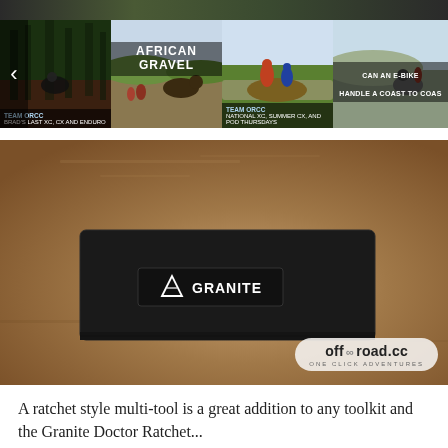[Figure (photo): Horizontal top banner strip showing a cycling/mountain biking scene]
[Figure (screenshot): Video thumbnail strip showing four cycling-related video thumbnails: Team ORCC (Brad's last XC, CX and Enduro), African Gravel, Team ORCC (National XC, Summer CX, and Pod Thursdays), and Can An E-Bike Handle A Coast To Coas. A left navigation arrow is visible on the left side.]
[Figure (photo): Main product photo of a black nylon Granite branded ratchet multi-tool pouch/wallet lying on a sandy/terra cotta surface. The off-road.cc watermark with 'ONE CLICK ADVENTURES' is in the bottom right.]
A ratchet style multi-tool is a great addition to any toolkit and the Granite Doctor Ratchet... (continues)